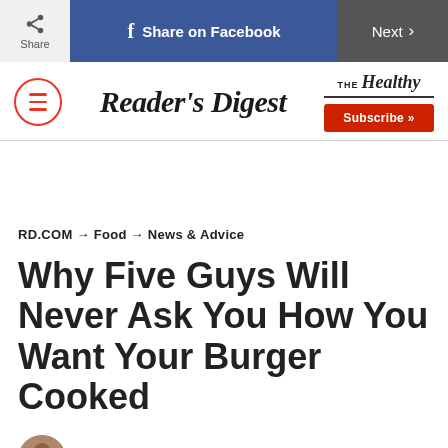Share | Share on Facebook | Next >
[Figure (logo): Reader's Digest masthead with hamburger menu icon on left, Reader's Digest logo in center, THE Healthy branding and Subscribe button on right]
RD.COM → Food → News & Advice
Why Five Guys Will Never Ask You How You Want Your Burger Cooked
Emily DiNuzzo